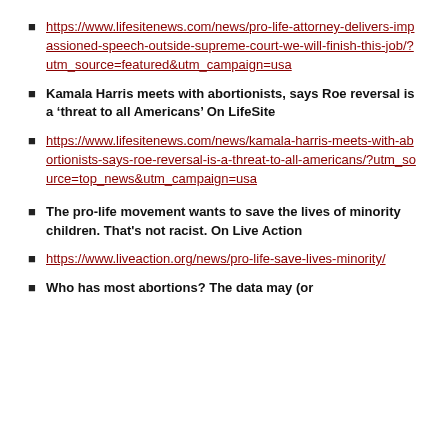https://www.lifesitenews.com/news/pro-life-attorney-delivers-impassioned-speech-outside-supreme-court-we-will-finish-this-job/?utm_source=featured&utm_campaign=usa
Kamala Harris meets with abortionists, says Roe reversal is a ‘threat to all Americans’ On LifeSite
https://www.lifesitenews.com/news/kamala-harris-meets-with-abortionists-says-roe-reversal-is-a-threat-to-all-americans/?utm_source=top_news&utm_campaign=usa
The pro-life movement wants to save the lives of minority children. That’s not racist. On Live Action
https://www.liveaction.org/news/pro-life-save-lives-minority/
Who has most abortions? The data may (or